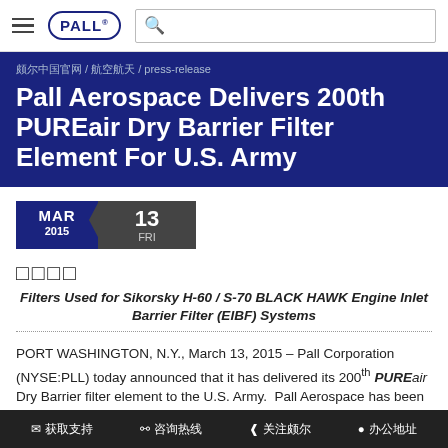PALL [logo] [search bar]
Pall Aerospace Delivers 200th PUREair Dry Barrier Filter Element For U.S. Army
颇尔中国官网 / 航空航天 / press-release
MAR 2015  13 FRI
□□□□
Filters Used for Sikorsky H-60 / S-70 BLACK HAWK Engine Inlet Barrier Filter (EIBF) Systems
PORT WASHINGTON, N.Y., March 13, 2015 – Pall Corporation (NYSE:PLL) today announced that it has delivered its 200th PUREair Dry Barrier filter element to the U.S. Army.  Pall Aerospace has been delivering product since July 2014 to s…
✉ 获取支持  📱 咨询热线  ⋈ 关注颇尔  📍 办公地址